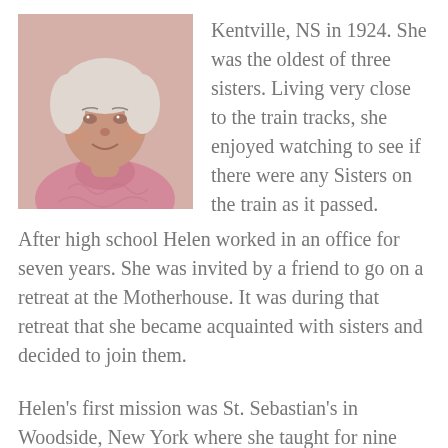[Figure (photo): Portrait photo of an elderly woman smiling, wearing a pink turtleneck sweater, close-up shot from shoulders up.]
Kentville, NS in 1924. She was the oldest of three sisters. Living very close to the train tracks, she enjoyed watching to see if there were any Sisters on the train as it passed. After high school Helen worked in an office for seven years. She was invited by a friend to go on a retreat at the Motherhouse. It was during that retreat that she became acquainted with sisters and decided to join them.
Helen's first mission was St. Sebastian's in Woodside, New York where she taught for nine years. After teaching for a few more years in Nova Scotia, Helen returned to using her office skills in